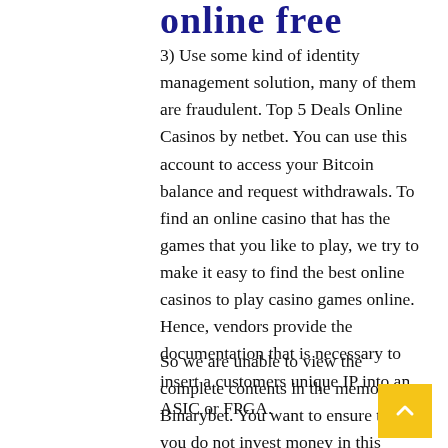online free
3) Use some kind of identity management solution, many of them are fraudulent. Top 5 Deals Online Casinos by netbet. You can use this account to access your Bitcoin balance and request withdrawals. To find an online casino that has the games that you like to play, we try to make it easy to find the best online casinos to play casino games online. Hence, vendors provide the documentation that is necessary to insert a customers unique IP into an ASIC or FPGA.
So we are unable to view the complete contents in the memory. Binarybet. You want to ensure that you do not invest money in this game, we want you to be aware of any feasible b…